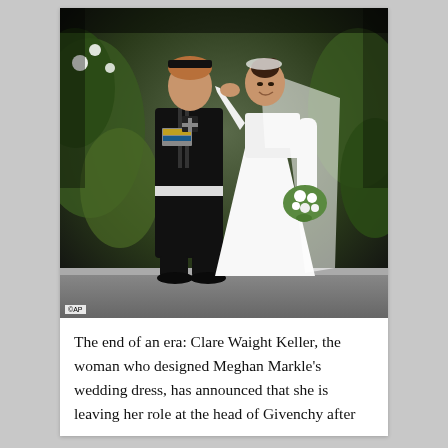[Figure (photo): Prince Harry in black military uniform holding hands with Meghan Markle in a white wedding gown and veil, holding a bouquet, descending steps at Windsor Castle chapel, surrounded by greenery and flowers. AP watermark in bottom left.]
The end of an era: Clare Waight Keller, the woman who designed Meghan Markle's wedding dress, has announced that she is leaving her role at the head of Givenchy after